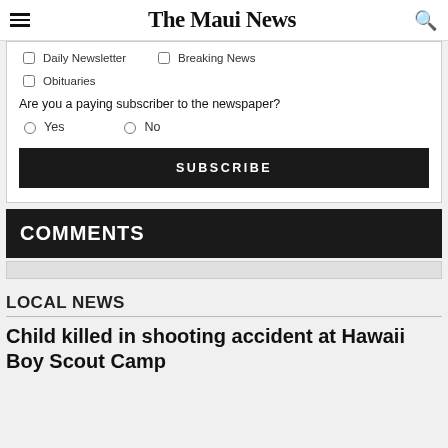The Maui News
Daily Newsletter | Breaking News | Obituaries
Are you a paying subscriber to the newspaper? Yes | No
SUBSCRIBE
COMMENTS
LOCAL NEWS
Child killed in shooting accident at Hawaii Boy Scout Camp